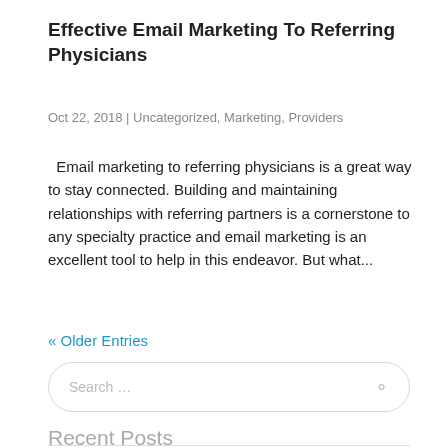Effective Email Marketing To Referring Physicians
Oct 22, 2018 | Uncategorized, Marketing, Providers
Email marketing to referring physicians is a great way to stay connected. Building and maintaining relationships with referring partners is a cornerstone to any specialty practice and email marketing is an excellent tool to help in this endeavor. But what...
« Older Entries
Recent Posts